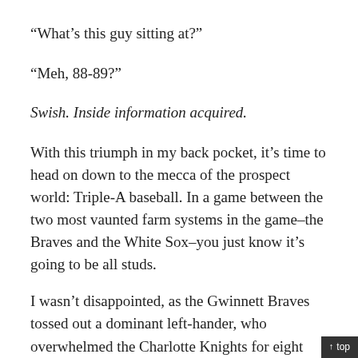“What’s this guy sitting at?”
“Meh, 88-89?”
Swish. Inside information acquired.
With this triumph in my back pocket, it’s time to head on down to the mecca of the prospect world: Triple-A baseball. In a game between the two most vaunted farm systems in the game–the Braves and the White Sox–you just know it’s going to be all studs.
I wasn’t disappointed, as the Gwinnett Braves tossed out a dominant left-hander, who overwhelmed the Charlotte Knights for eight scoreless innings with 10
↑ top